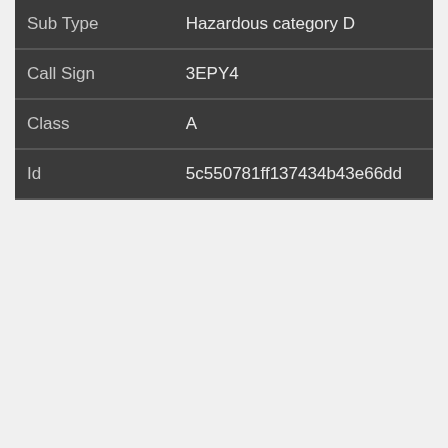| Sub Type | Hazardous category D |
| Call Sign | 3EPY4 |
| Class | A |
| Id | 5c550781ff137434b43e66dd |